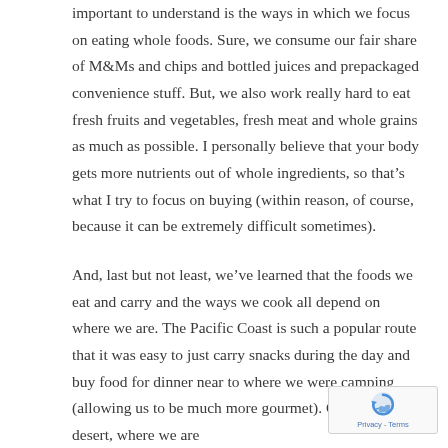important to understand is the ways in which we focus on eating whole foods. Sure, we consume our fair share of M&Ms and chips and bottled juices and prepackaged convenience stuff. But, we also work really hard to eat fresh fruits and vegetables, fresh meat and whole grains as much as possible. I personally believe that your body gets more nutrients out of whole ingredients, so that's what I try to focus on buying (within reason, of course, because it can be extremely difficult sometimes).
And, last but not least, we've learned that the foods we eat and carry and the ways we cook all depend on where we are. The Pacific Coast is such a popular route that it was easy to just carry snacks during the day and buy food for dinner near to where we were camping (allowing us to be much more gourmet). Out in the desert, where we are